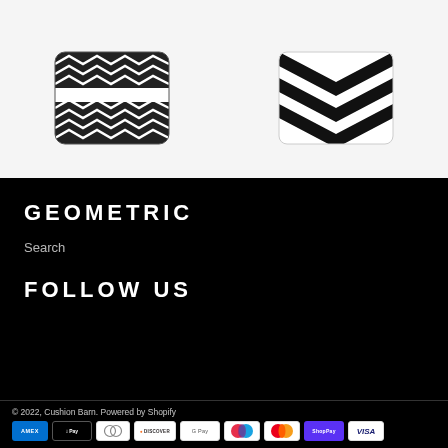[Figure (photo): Two decorative throw pillows with black and white zigzag/chevron geometric patterns shown on a light gray background]
GEOMETRIC
Search
FOLLOW US
© 2022, Cushion Barn. Powered by Shopify
[Figure (other): Payment method icons: Amex, Apple Pay, Diners Club, Discover, Google Pay, Maestro, Mastercard, Shop Pay, Visa]